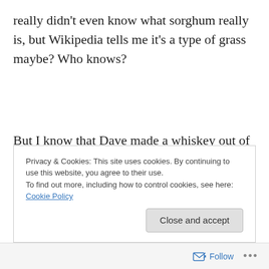really didn't even know what sorghum really is, but Wikipedia tells me it's a type of grass maybe? Who knows?
But I know that Dave made a whiskey out of it, so I headed downtown first thing in the afternoon. In fact, my little man and I found ourselves in the position to purchase the very first bottle of this new whiskey (see picture)!
Privacy & Cookies: This site uses cookies. By continuing to use this website, you agree to their use.
To find out more, including how to control cookies, see here: Cookie Policy
Close and accept
Follow ...